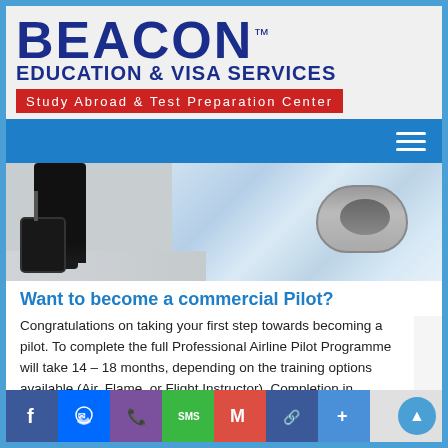[Figure (logo): Beacon Education & Visa Services logo with tagline 'Study Abroad & Test Preparation Center']
[Figure (photo): Person in business attire pulling luggage with airplane engine in background]
Want to become a commercial Pilot?
Congratulations on taking your first step towards becoming a pilot. To complete the full Professional Airline Pilot Programme will take 14 – 18 months, depending on the training options available (Air, Flame, or Flight Instructor).
[Figure (screenshot): Social media share bar with Facebook, Messenger, Viber, SMS, Gmail, Link, and Share buttons plus scroll-to-top button]